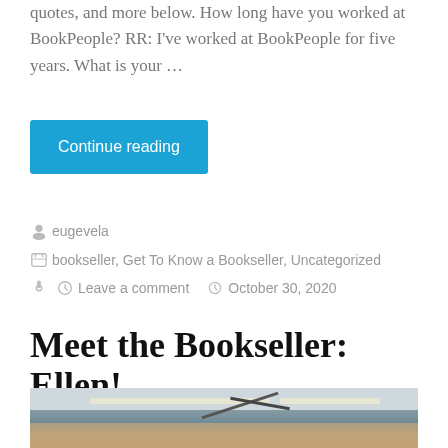quotes, and more below. How long have you worked at BookPeople? RR: I've worked at BookPeople for five years. What is your …
Continue reading
eugevela
bookseller, Get To Know a Bookseller, Uncategorized
Leave a comment   October 30, 2020
Meet the Bookseller: Ellen!
[Figure (photo): Interior of BookPeople bookstore showing ceiling with fluorescent lights, fan, and bookshelves below]